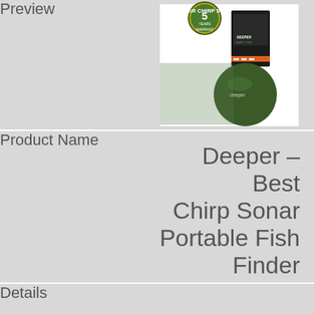Preview
[Figure (photo): Deeper Chirp Sonar portable fish finder product image showing a green spherical device next to its retail box, with a 5 Year Warranty badge overlay]
Product Name
Deeper – Best Chirp Sonar Portable Fish Finder
Details
Price